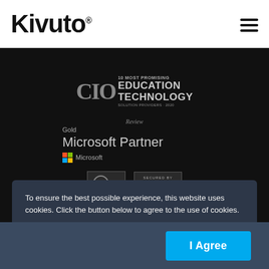[Figure (logo): Kivuto logo with registered trademark symbol in bold black text]
[Figure (illustration): CIO Review 10 Most Promising Education Technology Solution Providers 2020 badge, Gold Microsoft Partner badge with Microsoft logo, and quality/RapidSSL security badges on dark background]
To ensure the best possible experience, this website uses cookies. Click the button below to agree to the use of cookies.
I Agree